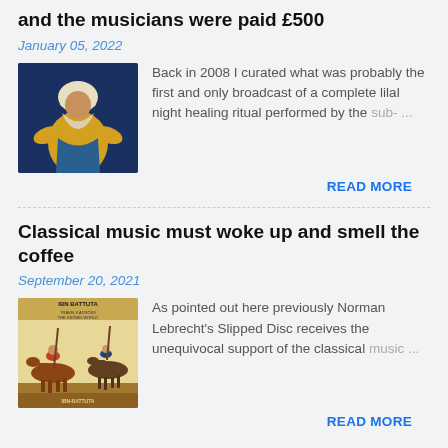and the musicians were paid £500
January 05, 2022
[Figure (photo): Photo of a person in colorful yellow and blue traditional clothing with white head covering]
Back in 2008 I curated what was probably the first and only broadcast of a complete lilal night healing ritual performed by the sub- …
READ MORE
Classical music must woke up and smell the coffee
September 20, 2021
[Figure (illustration): Book cover or illustration labeled IBN BATTUTA showing medieval figures on horseback]
As pointed out here previously Norman Lebrecht's Slipped Disc receives the unequivocal support of the classical music …
READ MORE